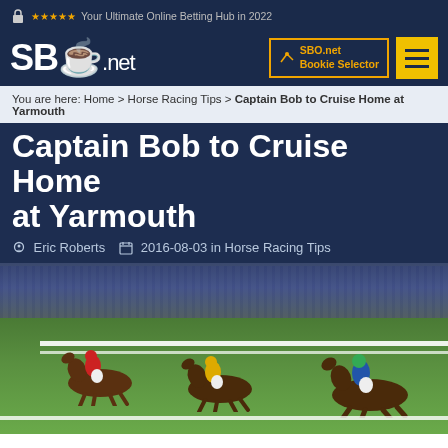Your Ultimate Online Betting Hub in 2022
[Figure (logo): SBO.net logo with trophy icon]
SBO.net Bookie Selector
You are here: Home > Horse Racing Tips > Captain Bob to Cruise Home at Yarmouth
Captain Bob to Cruise Home at Yarmouth
Eric Roberts  2016-08-03 in Horse Racing Tips
[Figure (photo): Horse racing scene with three jockeys racing on green turf with crowd in background]